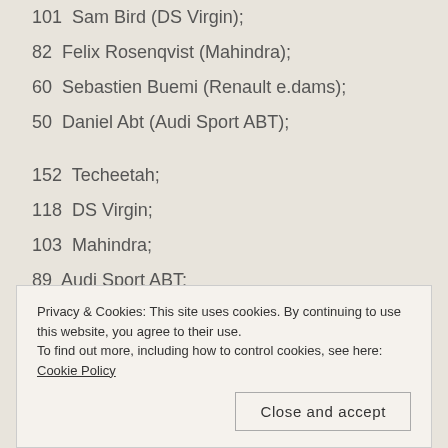101  Sam Bird (DS Virgin);
82  Felix Rosenqvist (Mahindra);
60  Sebastien Buemi (Renault e.dams);
50  Daniel Abt (Audi Sport ABT);
152  Techeetah;
118  DS Virgin;
103  Mahindra;
89  Audi Sport ABT;
88  Jaguar;
Privacy & Cookies: This site uses cookies. By continuing to use this website, you agree to their use.
To find out more, including how to control cookies, see here: Cookie Policy